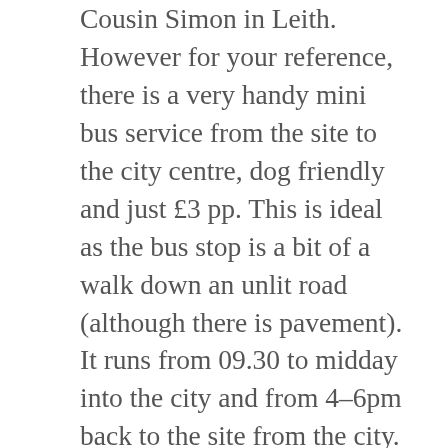Cousin Simon in Leith. However for your reference, there is a very handy mini bus service from the site to the city centre, dog friendly and just £3 pp. This is ideal as the bus stop is a bit of a walk down an unlit road (although there is pavement). It runs from 09.30 to midday into the city and from 4-6pm back to the site from the city. We however used Central Taxis for the entirety of our stay as we were needing to go off the beaten track and returning to site later than the minibus. They are totally dog friendly- just mention when you ring and they will send, very promptly, a dog friendly car to wherever you are.